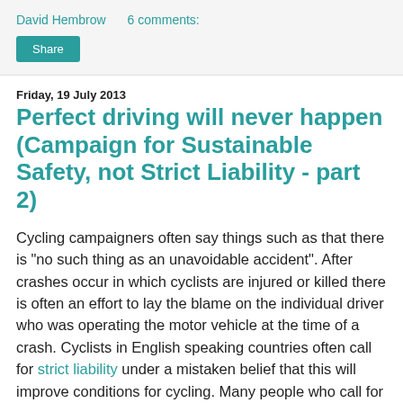David Hembrow    6 comments:
Perfect driving will never happen (Campaign for Sustainable Safety, not Strict Liability - part 2)
Friday, 19 July 2013
Cycling campaigners often say things such as that there is "no such thing as an unavoidable accident". After crashes occur in which cyclists are injured or killed there is often an effort to lay the blame on the individual driver who was operating the motor vehicle at the time of a crash. Cyclists in English speaking countries often call for strict liability under a mistaken belief that this will improve conditions for cycling. Many people who call for this law mistakenly believe that the law's existence on its own somehow makes drivers behave better, but this is a misunderstanding. The law in the Netherlands exists merely to address issues of material